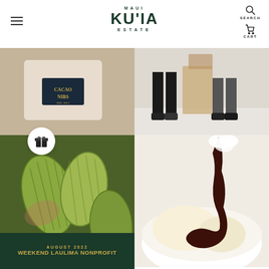MAUI KU'IA ESTATE — SEARCH — CART
[Figure (photo): Close-up of a product box labeled 'CACAO NIBS' on a light background]
[Figure (photo): People's feet and legs at an indoor event or exhibition]
[Figure (photo): Green and yellow cacao pods clustered together]
[Figure (photo): Dark chocolate sauce being poured over vanilla ice cream in a white bowl]
[Figure (photo): Dark green banner reading 'AUGUST 2022 WEEKEND LAULIMA NONPROFIT' with gift icon overlay]